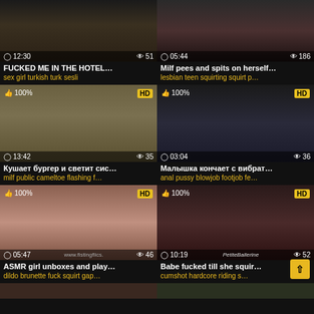[Figure (screenshot): Video thumbnail grid showing adult video website listings with thumbnails, titles, tags, view counts and durations]
FUCKED ME IN THE HOTEL…
sex girl turkish turk sesli
Milf pees and spits on herself…
lesbian teen squirting squirt p…
Кушает бургер и светит сис…
milf public cameltoe flashing f…
Малышка кончает с вибрат…
anal pussy blowjob footjob fe…
ASMR girl unboxes and play…
dildo brunette fuck squirt gap…
Babe fucked till she squir…
cumshot hardcore riding s…